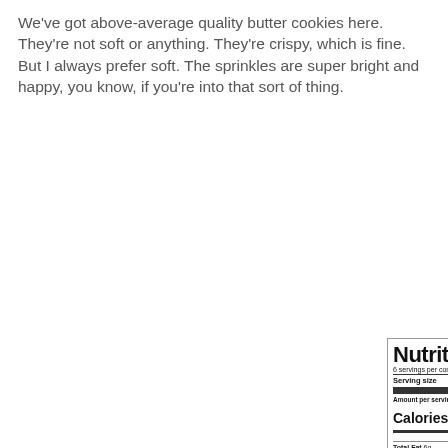We've got above-average quality butter cookies here. They're not soft or anything. They're crispy, which is fine. But I always prefer soft. The sprinkles are super bright and happy, you know, if you're into that sort of thing.
[Figure (other): Nutrition Facts label for butter cookies. Serving size 1 cookie (28g), 6 servings per container. Calories 140. Total Fat 6g 10%, Saturated Fat 5g 25%, Trans Fat 0g. Cholesterol 20mg 7%, Sodium 80mg 3%, Total Carbohydrate 19g 7%, Dietary Fiber 0g 0%, Total Sugars 5g, Includes 1g Added Sugars 18%. Protein less than 1g. Vitamin D 0mcg 0%, Calcium 8mg 0%, Iron 0.2mg 2%, Potassium 15mg 0%. Ingredients list for cookie dry mix.]